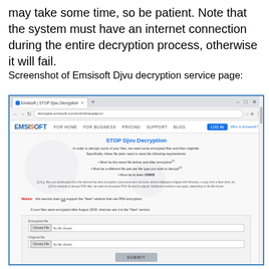may take some time, so be patient. Note that the system must have an internet connection during the entire decryption process, otherwise it will fail.
Screenshot of Emsisoft Djvu decryption service page:
[Figure (screenshot): Screenshot of the Emsisoft Djvu decryption service page showing a browser window with the STOP Djvu Decryption tool. The page includes a title 'STOP Djvu Decryption', instructions for uploading encrypted and original files, a notice about RSA encryption variants, and a form with Encrypted file and Original file fields plus a SUBMIT button.]